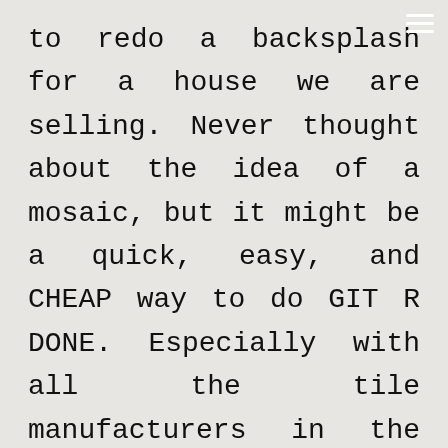to redo a backsplash for a house we are selling. Never thought about the idea of a mosaic, but it might be a quick, easy, and CHEAP way to do GIT R DONE. Especially with all the tile manufacturers in the Dallas area. Broken tile paradise!

One question: With a mosaic,